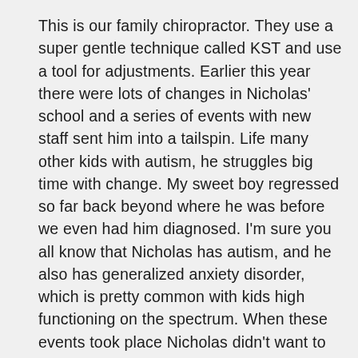This is our family chiropractor. They use a super gentle technique called KST and use a tool for adjustments. Earlier this year there were lots of changes in Nicholas' school and a series of events with new staff sent him into a tailspin. Life many other kids with autism, he struggles big time with change. My sweet boy regressed so far back beyond where he was before we even had him diagnosed. I'm sure you all know that Nicholas has autism, and he also has generalized anxiety disorder, which is pretty common with kids high functioning on the spectrum. When these events took place Nicholas didn't want to go to school anymore. He was afraid. When I got him to finally go in the building I was told he couldn't bring himself to even enter his classroom most days (his regular teacher was out for an extended period)